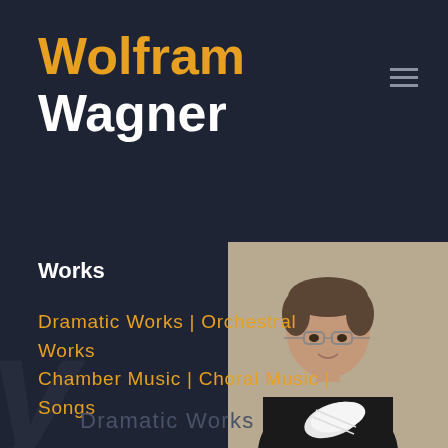Wolfram Wagner
Works
Dramatic Works | Orchestral Works
Chamber Music | Choral Music | Songs
[Figure (photo): Portrait photograph of Wolfram Wagner, a man with glasses wearing a black sweater, holding white papers/scores, against a beige/tan background]
Dramatic Works